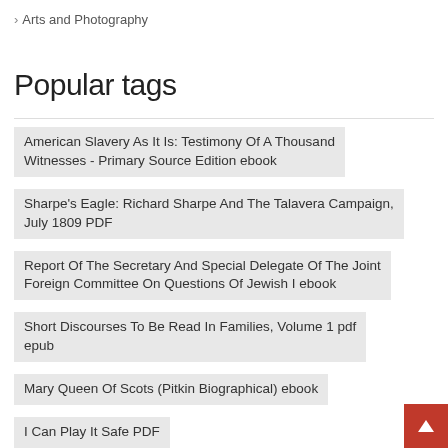> Arts and Photography
Popular tags
American Slavery As It Is: Testimony Of A Thousand Witnesses - Primary Source Edition ebook
Sharpe's Eagle: Richard Sharpe And The Talavera Campaign, July 1809 PDF
Report Of The Secretary And Special Delegate Of The Joint Foreign Committee On Questions Of Jewish I ebook
Short Discourses To Be Read In Families, Volume 1 pdf epub
Mary Queen Of Scots (Pitkin Biographical) ebook
I Can Play It Safe PDF